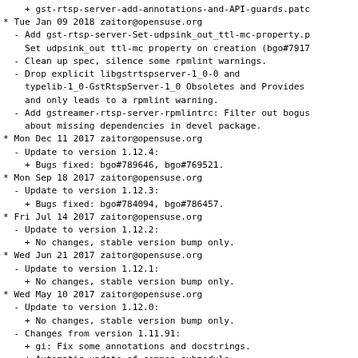+ gst-rtsp-server-add-annotations-and-API-guards.patc
* Tue Jan 09 2018 zaitor@opensuse.org
  - Add gst-rtsp-server-Set-udpsink_out_ttl-mc-property.p
    Set udpsink_out ttl-mc property on creation (bgo#7917
  - Clean up spec, silence some rpmlint warnings.
  - Drop explicit libgstrtspserver-1_0-0 and
    typelib-1_0-GstRtspServer-1_0 Obsoletes and Provides
    and only leads to a rpmlint warning.
  - Add gstreamer-rtsp-server-rpmlintrc: Filter out bogus
    about missing dependencies in devel package.
* Mon Dec 11 2017 zaitor@opensuse.org
  - Update to version 1.12.4:
    + Bugs fixed: bgo#789646, bgo#769521.
* Mon Sep 18 2017 zaitor@opensuse.org
  - Update to version 1.12.3:
    + Bugs fixed: bgo#784094, bgo#786457.
* Fri Jul 14 2017 zaitor@opensuse.org
  - Update to version 1.12.2:
    + No changes, stable version bump only.
* Wed Jun 21 2017 zaitor@opensuse.org
  - Update to version 1.12.1:
    + No changes, stable version bump only.
* Wed May 10 2017 zaitor@opensuse.org
  - Update to version 1.12.0:
    + No changes, stable version bump only.
  - Changes from version 1.11.91:
    + gi: Fix some annotations and docstrings.
    + Automatic update of common submodule.
  - Changes from version 1.11.90:
    + examples: make test-launch pipeline shared by defau